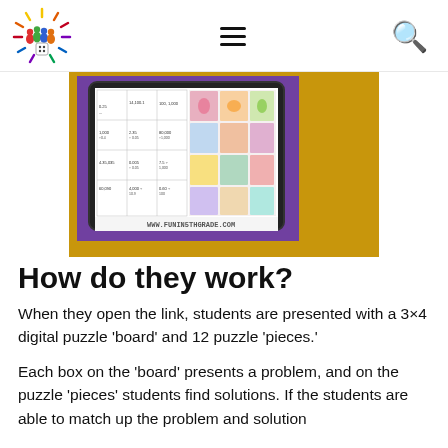[Logo: colorful board game figures with dice] [hamburger menu] [search icon]
[Figure (screenshot): Screenshot of a tablet showing a 3x4 digital puzzle board with math problems on the left half and colorful floral puzzle pieces on the right half, with URL www.funin5thgrade.com at the bottom]
How do they work?
When they open the link, students are presented with a 3×4 digital puzzle ‘board’ and 12 puzzle ‘pieces.’
Each box on the ‘board’ presents a problem, and on the puzzle ‘pieces’ students find solutions. If the students are able to match up the problem and solution